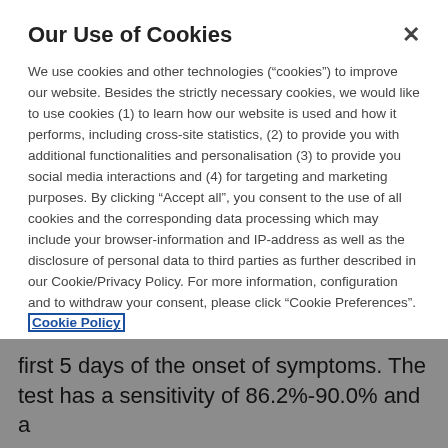Our Use of Cookies
We use cookies and other technologies (“cookies”) to improve our website. Besides the strictly necessary cookies, we would like to use cookies (1) to learn how our website is used and how it performs, including cross-site statistics, (2) to provide you with additional functionalities and personalisation (3) to provide you social media interactions and (4) for targeting and marketing purposes. By clicking “Accept all”, you consent to the use of all cookies and the corresponding data processing which may include your browser-information and IP-address as well as the disclosure of personal data to third parties as further described in our Cookie/Privacy Policy. For more information, configuration and to withdraw your consent, please click “Cookie Preferences”. Cookie Policy
Cookie Preferences
first 5 days of the onset of symptoms. The test has a sensitivity of 86.2%-90.0% and a